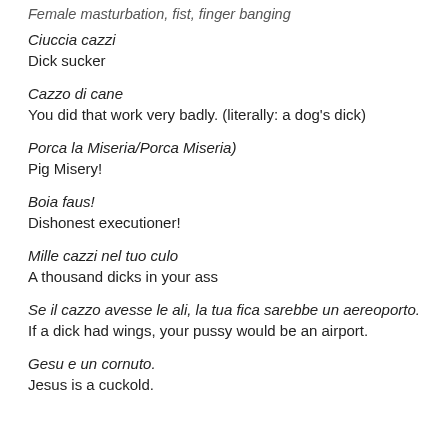Female masturbation, fist, finger banging
Ciuccia cazzi
Dick sucker
Cazzo di cane
You did that work very badly. (literally: a dog's dick)
Porca la Miseria/Porca Miseria)
Pig Misery!
Boia faus!
Dishonest executioner!
Mille cazzi nel tuo culo
A thousand dicks in your ass
Se il cazzo avesse le ali, la tua fica sarebbe un aereoporto.
If a dick had wings, your pussy would be an airport.
Gesu e un cornuto.
Jesus is a cuckold.